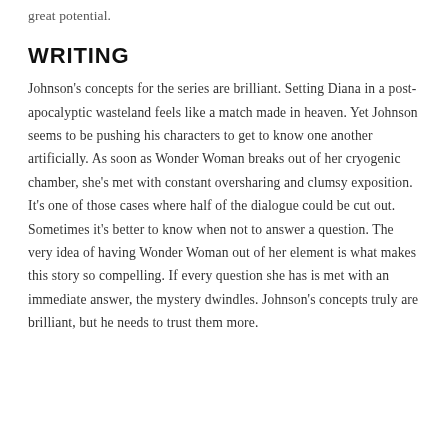great potential.
WRITING
Johnson's concepts for the series are brilliant. Setting Diana in a post-apocalyptic wasteland feels like a match made in heaven. Yet Johnson seems to be pushing his characters to get to know one another artificially. As soon as Wonder Woman breaks out of her cryogenic chamber, she's met with constant oversharing and clumsy exposition. It's one of those cases where half of the dialogue could be cut out. Sometimes it's better to know when not to answer a question. The very idea of having Wonder Woman out of her element is what makes this story so compelling. If every question she has is met with an immediate answer, the mystery dwindles. Johnson's concepts truly are brilliant, but he needs to trust them more.